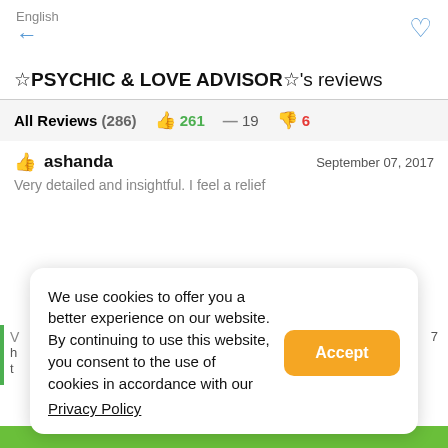English ←
☆PSYCHIC & LOVE ADVISOR☆'s reviews
| All Reviews (286) | 👍 261 | — 19 | 👎 6 |
| --- | --- | --- | --- |
ashanda — September 07, 2017 — Very detailed and insightful. I feel a relief
We use cookies to offer you a better experience on our website. By continuing to use this website, you consent to the use of cookies in accordance with our Privacy Policy
Accept